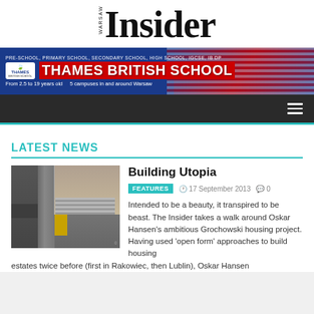WARSAW Insider
[Figure (infographic): Thames British School advertisement banner with Union Jack background, logo, and text: PRE-SCHOOL, PRIMARY SCHOOL, SECONDARY SCHOOL, HIGH SCHOOL, IGCSE, IB DP. Thames British School. From 2.5 to 19 years old. 5 campuses in and around Warsaw.]
LATEST NEWS
[Figure (photo): Photo of a brutalist concrete building exterior with a large pillar, yellow door, roller shutter and building facade visible.]
Building Utopia
FEATURES  17 September 2013  0
Intended to be a beauty, it transpired to be beast. The Insider takes a walk around Oskar Hansen's ambitious Grochowski housing project. Having used 'open form' approaches to build housing estates twice before (first in Rakowiec, then Lublin), Oskar Hansen